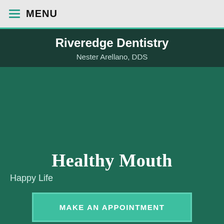MENU
Riveredge Dentistry
Nester Arellano, DDS
Healthy Mouth
Happy Life
MAKE AN APPOINTMENT